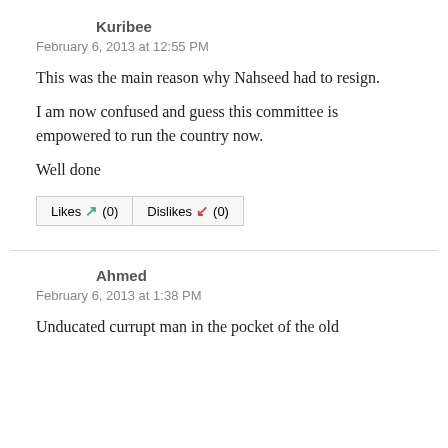Kuribee
February 6, 2013 at 12:55 PM
This was the main reason why Nahseed had to resign.
I am now confused and guess this committee is empowered to run the country now.
Well done
Likes (0)   Dislikes (0)
Ahmed
February 6, 2013 at 1:38 PM
Unducated currupt man in the pocket of the old